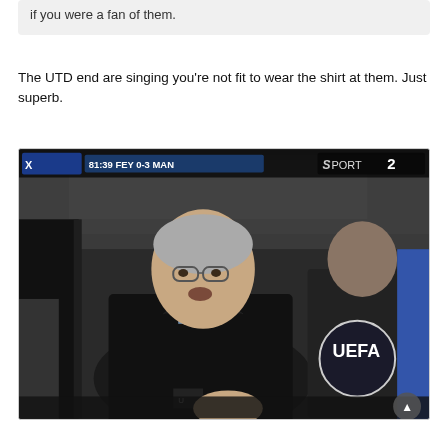if you were a fan of them.
The UTD end are singing you're not fit to wear the shirt at them. Just superb.
[Figure (screenshot): A TV broadcast screenshot showing a man in a black jacket (likely Sir Alex Ferguson) at a football stadium dugout, with UEFA logo visible on another person's jacket. Score bar at top reads: FEY 0-3 MAN. Sport 2 logo visible top right.]